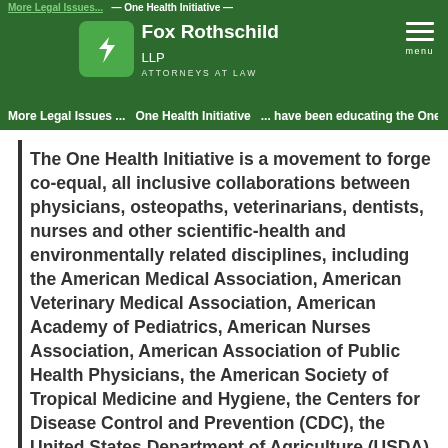Fox Rothschild LLP — Attorneys at Law
More Legal Issues ... One Health Initiative ... have been educating the One Health Initiative.
The One Health Initiative is a movement to forge co-equal, all inclusive collaborations between physicians, osteopaths, veterinarians, dentists, nurses and other scientific-health and environmentally related disciplines, including the American Medical Association, American Veterinary Medical Association, American Academy of Pediatrics, American Nurses Association, American Association of Public Health Physicians, the American Society of Tropical Medicine and Hygiene, the Centers for Disease Control and Prevention (CDC), the United States Department of Agriculture (USDA), and the